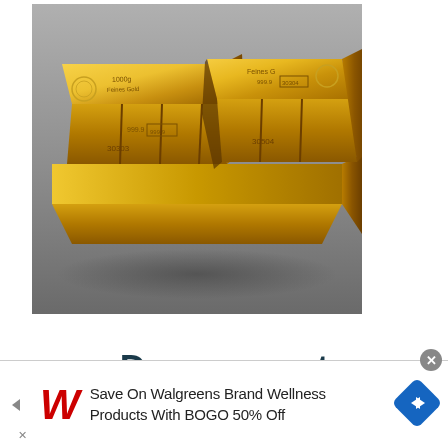[Figure (photo): Photograph of multiple gold bars/ingots stacked together, showing engraved text including '1000g', 'Feines Gold', '999.9', and serial numbers like '30303', '30504'. The bars are golden colored with reflective surfaces against a gray background.]
Do you want
[Figure (other): Advertisement banner for Walgreens showing: a red cursive 'W' logo, text 'Save On Walgreens Brand Wellness Products With BOGO 50% Off', a blue diamond-shaped navigation icon with a right arrow, a close button (X circle), and small forward/back arrows on the left.]